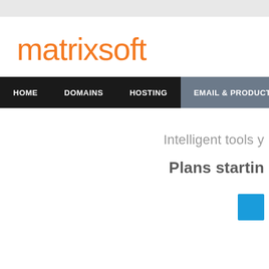[Figure (logo): Matrixsoft logo in orange text]
HOME    DOMAINS    HOSTING    EMAIL & PRODUCTIVITY
Intelligent tools y
Plans startin